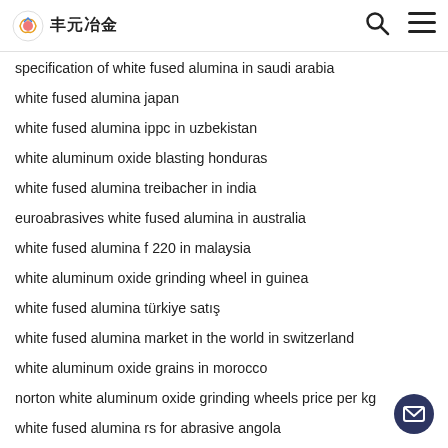丰元冶金
specification of white fused alumina in saudi arabia
white fused alumina japan
white fused alumina ippc in uzbekistan
white aluminum oxide blasting honduras
white fused alumina treibacher in india
euroabrasives white fused alumina in australia
white fused alumina f 220 in malaysia
white aluminum oxide grinding wheel in guinea
white fused alumina türkiye satış
white fused alumina market in the world in switzerland
white aluminum oxide grains in morocco
norton white aluminum oxide grinding wheels price per kg
white fused alumina rs for abrasive angola
white aluminum oxide grains steel making
white alumina oxide g120 in slovakia
top white fised alumina hardness
white fused alumina in finland